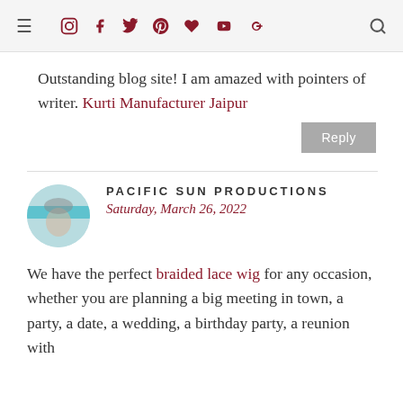≡ [social icons] Q
Outstanding blog site! I am amazed with pointers of writer. Kurti Manufacturer Jaipur
Reply
[Figure (photo): Circular avatar photo of Pacific Sun Productions commenter]
PACIFIC SUN PRODUCTIONS
Saturday, March 26, 2022
We have the perfect braided lace wig for any occasion, whether you are planning a big meeting in town, a party, a date, a wedding, a birthday party, a reunion with